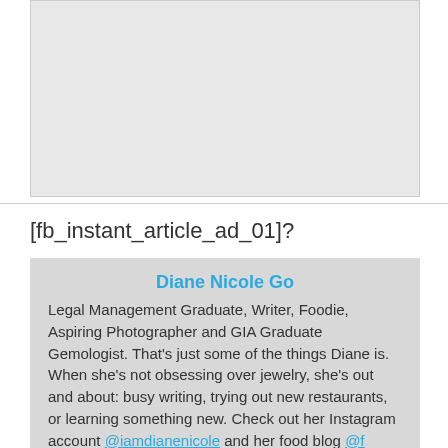[Figure (other): Gray placeholder image area]
[fb_instant_article_ad_01]?
Diane Nicole Go
Legal Management Graduate, Writer, Foodie, Aspiring Photographer and GIA Graduate Gemologist. That's just some of the things Diane is. When she's not obsessing over jewelry, she's out and about: busy writing, trying out new restaurants, or learning something new. Check out her Instagram account @iamdianenicole and her food blog @f